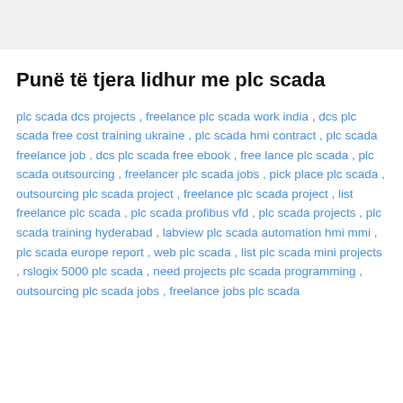Punë të tjera lidhur me plc scada
plc scada dcs projects , freelance plc scada work india , dcs plc scada free cost training ukraine , plc scada hmi contract , plc scada freelance job , dcs plc scada free ebook , free lance plc scada , plc scada outsourcing , freelancer plc scada jobs , pick place plc scada , outsourcing plc scada project , freelance plc scada project , list freelance plc scada , plc scada profibus vfd , plc scada projects , plc scada training hyderabad , labview plc scada automation hmi mmi , plc scada europe report , web plc scada , list plc scada mini projects , rslogix 5000 plc scada , need projects plc scada programming , outsourcing plc scada jobs , freelance jobs plc scada